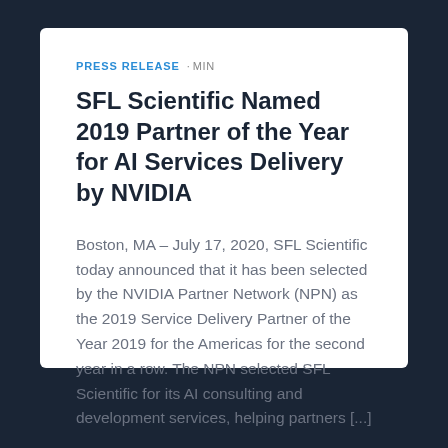PRESS RELEASE · MIN
SFL Scientific Named 2019 Partner of the Year for AI Services Delivery by NVIDIA
Boston, MA – July 17, 2020, SFL Scientific today announced that it has been selected by the NVIDIA Partner Network (NPN) as the 2019 Service Delivery Partner of the Year 2019 for the Americas for the second year in a row. The NPN selected SFL Scientific for its AI consulting and development services, helping partners [...]
Read ›